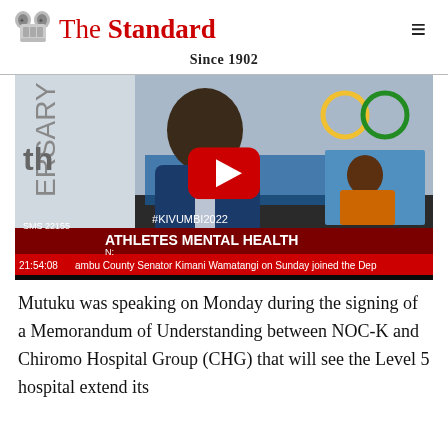The Standard — Since 1902
[Figure (screenshot): Video thumbnail showing a man in a suit speaking, with a YouTube play button overlay. Lower third text reads '#KIVUMBI2022', 'ATHLETES MENTAL HEALTH', 'SMS 22155', '21:54:08', and ticker text 'ambu County Senator Kimani Wamatangi on Sunday joined the Dep']
Mutuku was speaking on Monday during the signing of a Memorandum of Understanding between NOC-K and Chiromo Hospital Group (CHG) that will see the Level 5 hospital extend its